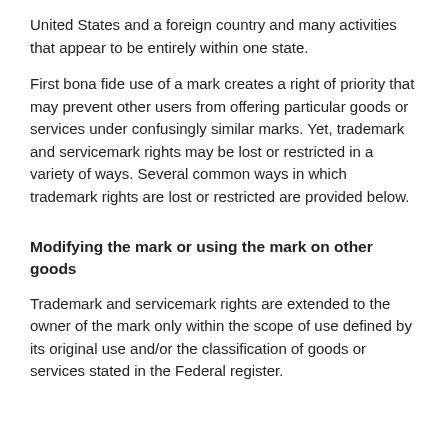United States and a foreign country and many activities that appear to be entirely within one state.
First bona fide use of a mark creates a right of priority that may prevent other users from offering particular goods or services under confusingly similar marks. Yet, trademark and servicemark rights may be lost or restricted in a variety of ways. Several common ways in which trademark rights are lost or restricted are provided below.
Modifying the mark or using the mark on other goods
Trademark and servicemark rights are extended to the owner of the mark only within the scope of use defined by its original use and/or the classification of goods or services stated in the Federal register.